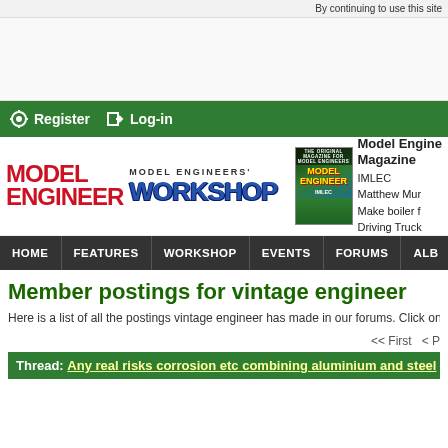By continuing to use this site
[Figure (other): Advertisement banner area, light gray background]
Register  Log-in
[Figure (logo): MODEL ENGINEER and MODEL ENGINEERS' WORKSHOP logos with magazine cover thumbnail]
Model Engineer Magazine
IMLEC
Matthew Mur
Make boiler f
Driving Truck
HOME  FEATURES  WORKSHOP  EVENTS  FORUMS  ALB
Member postings for vintage engineer
Here is a list of all the postings vintage engineer has made in our forums. Click on a
<< First  < P
Thread: Any real risks corrosion etc combining aluminium and steel